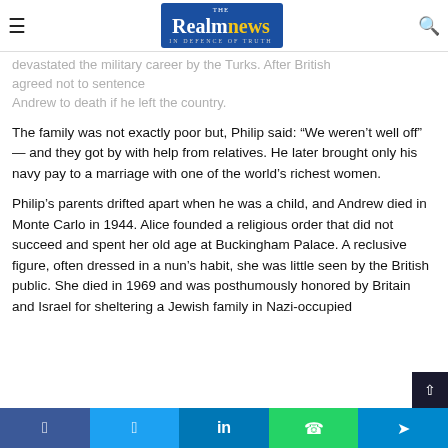The Realm News — In Defence of Truth
devastated the military career by the Turks. After British agreed not to sentence Andrew to death if he left the country.
The family was not exactly poor but, Philip said: “We weren’t well off” — and they got by with help from relatives. He later brought only his navy pay to a marriage with one of the world’s richest women.
Philip’s parents drifted apart when he was a child, and Andrew died in Monte Carlo in 1944. Alice founded a religious order that did not succeed and spent her old age at Buckingham Palace. A reclusive figure, often dressed in a nun’s habit, she was little seen by the British public. She died in 1969 and was posthumously honored by Britain and Israel for sheltering a Jewish family in Nazi-occupied
Facebook  Twitter  LinkedIn  WhatsApp  Telegram